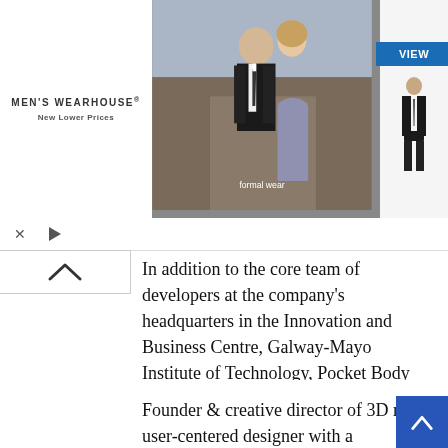[Figure (photo): Men's Wearhouse advertisement banner featuring a couple in formal wear and a man in a suit, with a blue VIEW button]
In addition to the core team of developers at the company's headquarters in the Innovation and Business Centre, Galway-Mayo Institute of Technology, Pocket Body has been co-developed by medical students for medical students, and this project has only been possible with the unique combination of exceptionally talented, and multidisciplinary team members.
Founder & creative director of 3D medical multimedia company eMedia, Mark Campbell is an experienced user-centered designer with a